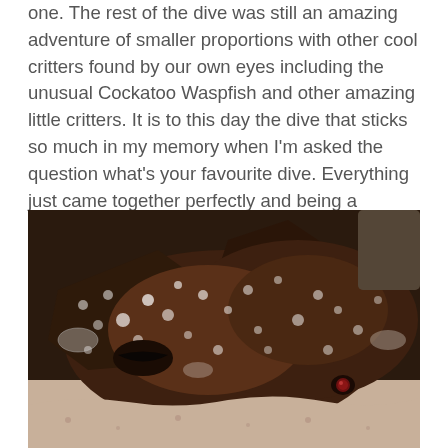one. The rest of the dive was still an amazing adventure of smaller proportions with other cool critters found by our own eyes including the unusual Cockatoo Waspfish and other amazing little critters. It is to this day the dive that sticks so much in my memory when I'm asked the question what's your favourite dive. Everything just came together perfectly and being a photographer a dive is always made even more special when you get shots you're really happy with. Looking forward to photographing one again in the future.
[Figure (photo): Close-up underwater photograph of a Cockatoo Waspfish (or similar cryptic fish), showing a dark brown mottled fish with white speckles and spots resting on a sandy/rocky substrate. The fish has a distinctive angular head shape with a small dark red eye visible in the lower right area of the frame. The background shows blurred sandy and rocky reef elements.]